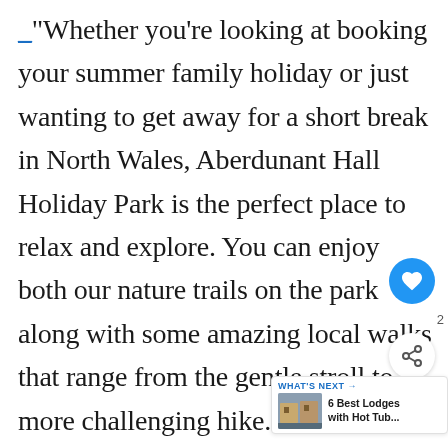_"Whether you're looking at booking your summer family holiday or just wanting to get away for a short break in North Wales, Aberdunant Hall Holiday Park is the perfect place to relax and explore. You can enjoy both our nature trails on the park along with some amazing local walks that range from the gentle stroll to a more challenging hike. You can start these walks from the park and end with a well-deserved drink at the Hall.
[Figure (other): Floating UI panel with heart/like button (blue circle) and share button with count of 2]
[Figure (infographic): What's Next widget showing '6 Best Lodges with Hot Tub...' with a small thumbnail image]